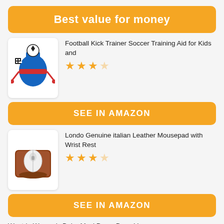Best value for money
Football Kick Trainer Soccer Training Aid for Kids and
[Figure (illustration): Football Kick Trainer Soccer Training Aid product image showing blue and red training harness vest with elastic cords]
[Figure (other): 3 filled stars and 1 empty star rating (3 out of 4 shown)]
SEE IN AMAZON
Londo Genuine italian Leather Mousepad with Wrist Rest
[Figure (illustration): Brown leather mousepad with white wireless mouse on top]
[Figure (other): 3 filled stars and 1 empty star rating (3 out of 4 shown)]
SEE IN AMAZON
Wantdo Women's Boho Maxi Dress Deep V